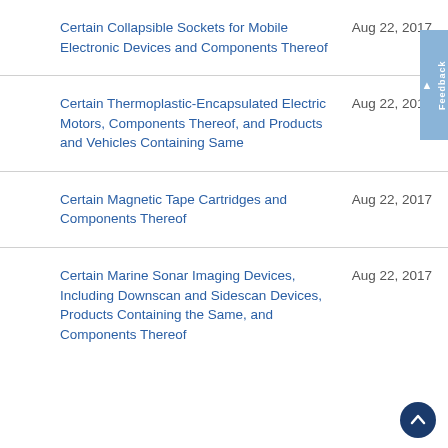Certain Collapsible Sockets for Mobile Electronic Devices and Components Thereof — Aug 22, 2017
Certain Thermoplastic-Encapsulated Electric Motors, Components Thereof, and Products and Vehicles Containing Same — Aug 22, 2017
Certain Magnetic Tape Cartridges and Components Thereof — Aug 22, 2017
Certain Marine Sonar Imaging Devices, Including Downscan and Sidescan Devices, Products Containing the Same, and Components Thereof — Aug 22, 2017